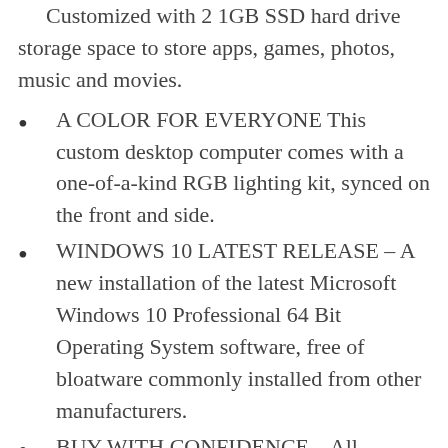Customized with 2 1GB SSD hard drive storage space to store apps, games, photos, music and movies.
A COLOR FOR EVERYONE This custom desktop computer comes with a one-of-a-kind RGB lighting kit, synced on the front and side.
WINDOWS 10 LATEST RELEASE – A new installation of the latest Microsoft Windows 10 Professional 64 Bit Operating System software, free of bloatware commonly installed from other manufacturers.
BUY WITH CONFIDENCE – All Amazon Renewed computers come with a 90-day warranty and technical support to provide customers with unmatched